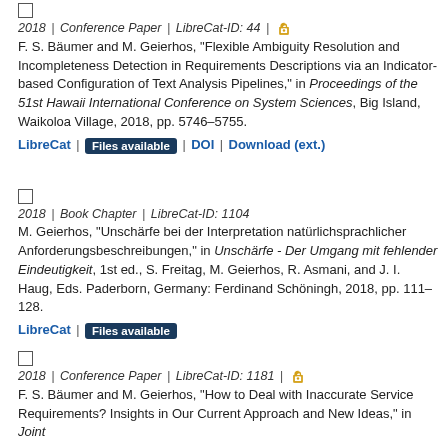2018 | Conference Paper | LibreCat-ID: 44 | [open access]
F. S. Bäumer and M. Geierhos, "Flexible Ambiguity Resolution and Incompleteness Detection in Requirements Descriptions via an Indicator-based Configuration of Text Analysis Pipelines," in Proceedings of the 51st Hawaii International Conference on System Sciences, Big Island, Waikoloa Village, 2018, pp. 5746–5755.
LibreCat | Files available | DOI | Download (ext.)
2018 | Book Chapter | LibreCat-ID: 1104
M. Geierhos, "Unschärfe bei der Interpretation natürlichsprachlicher Anforderungsbeschreibungen," in Unschärfe - Der Umgang mit fehlender Eindeutigkeit, 1st ed., S. Freitag, M. Geierhos, R. Asmani, and J. I. Haug, Eds. Paderborn, Germany: Ferdinand Schöningh, 2018, pp. 111–128.
LibreCat | Files available
2018 | Conference Paper | LibreCat-ID: 1181 | [open access]
F. S. Bäumer and M. Geierhos, "How to Deal with Inaccurate Service Requirements? Insights in Our Current Approach and New Ideas," in Joint